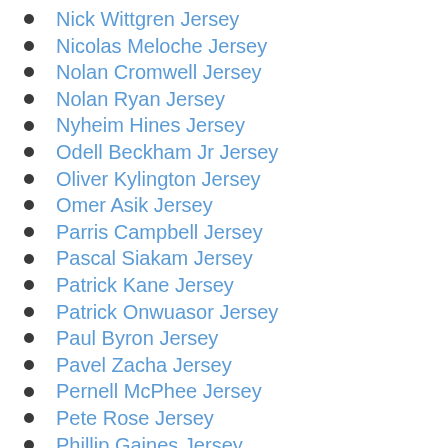Nick Wittgren Jersey
Nicolas Meloche Jersey
Nolan Cromwell Jersey
Nolan Ryan Jersey
Nyheim Hines Jersey
Odell Beckham Jr Jersey
Oliver Kylington Jersey
Omer Asik Jersey
Parris Campbell Jersey
Pascal Siakam Jersey
Patrick Kane Jersey
Patrick Onwuasor Jersey
Paul Byron Jersey
Pavel Zacha Jersey
Pernell McPhee Jersey
Pete Rose Jersey
Phillip Gaines Jersey
Pittsburgh Steelers
Rajon Rondo Jersey
Ray Allen Jersey